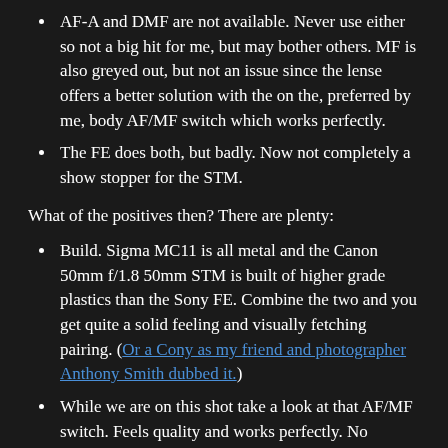AF-A and DMF are not available. Never use either so not a big hit for me, but may bother others. MF is also greyed out, but not an issue since the lense offers a better solution with the on the, preferred by me, body AF/MF switch which works perfectly.
The FE does both, but badly. Now not completely a show stopper for the STM.
What of the positives then? There are plenty:
Build. Sigma MC11 is all metal and the Canon 50mm f/1.8 50mm STM is built of higher grade plastics than the Sony FE. Combine the two and you get quite a solid feeling and visually fetching pairing. (Or a Cony as my friend and photographer Anthony Smith dubbed it.)
While we are on this shot take a look at that AF/MF switch. Feels quality and works perfectly. No AF/MF switch on the FE.
IQ. No surprises here. One of the best 50mm lenses I...